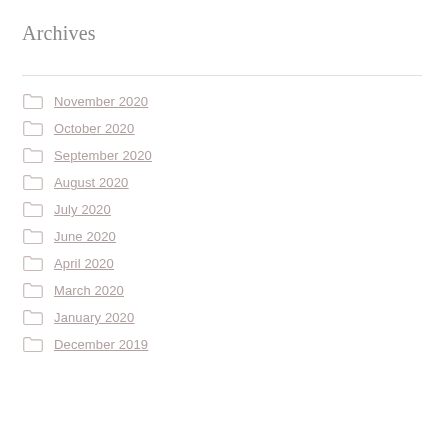Archives
November 2020
October 2020
September 2020
August 2020
July 2020
June 2020
April 2020
March 2020
January 2020
December 2019